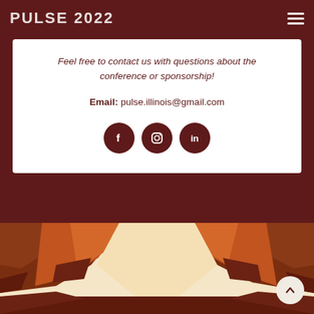Pulse 2022
Feel free to contact us with questions about the conference or sponsorship!
Email: pulse.illinois@gmail.com
[Figure (illustration): Three social media icon circles (Facebook, Instagram, LinkedIn) in dark maroon color]
[Figure (illustration): Canyon landscape illustration with orange and brown rocky walls and a light beige sky]